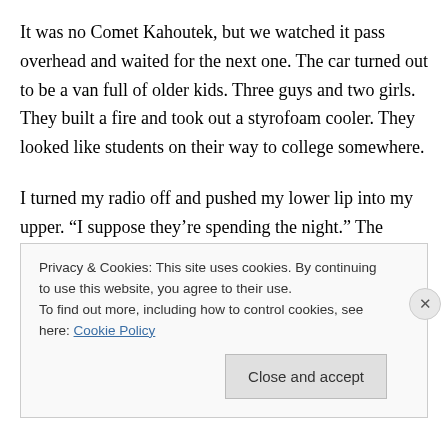It was no Comet Kahoutek, but we watched it pass overhead and waited for the next one. The car turned out to be a van full of older kids. Three guys and two girls. They built a fire and took out a styrofoam cooler. They looked like students on their way to college somewhere.
I turned my radio off and pushed my lower lip into my upper. “I suppose they’re spending the night.” The sound of their car radio reached our ears.
“So what? We might catch another satellite or a shooting
Privacy & Cookies: This site uses cookies. By continuing to use this website, you agree to their use.
To find out more, including how to control cookies, see here: Cookie Policy